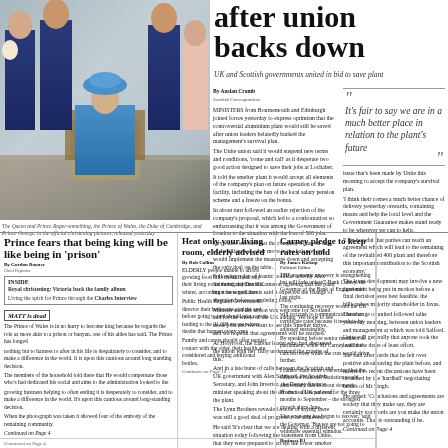[Figure (photo): Royal family official christening portrait: Queen Elizabeth II seated in blue coat and hat, Prince Charles standing behind, Duke of Cambridge holding baby Prince George, other royals present in formal room]
The Queen and Prince Roger-something, the Prince of Wales, the Duke of Cambridge, and Prince George, in the official christening pictures, released yesterday
after union backs down
UK and Scottish governments united in bid to save plant
By Auslan Cramb Scottish Correspondent
MINISTERS from Bournemouth and Edinburgh joined forces yesterday to express optimism that the controversial aluminium plant would still be saved after union leaders belatedly backed the management's survival plan. The Unite union said it would suspend new terms and conditions, 'come and call' as it desperate two point action designed to save them jobs at Lochaber. It told the smelter plant it would accept all elements of the company's plan on future operation of the facility, including the ban of the local salary pension scheme and a freeze on the bonus. In about turn followed an earlier rejection of the company's proposal, which led to a confrontation so embarrassing that it was among the Government of London to the situation with the loss of 500 jobs. Jarvis also stressed that the company's plan on data of the alliance or other move in the balance, and would implement the measures down and accepting the only deal on the table. Following a day of frantic political activity Alex Salmond and David Cameron agreeing that the plant must be saved, Jarvis said it expected the change of direction before completing today.
It's fair to say we are in a much better place in relation to the plant's future
The Unite union also was welcome for Scotland and for the whole of the UK adding 'We hope to see those jobs and we want to see this Smelter thrive, and we hopeful that agreements will be reached.' At Holyrood, the Labour leader who has also been named the union with her 'fully understand the gravity of this.' And in a late burst of calls between the Scottish and UK governments with Alex Salmond, the Scottish Secretary, and John Invertor, the Deputy finance minister speaking about the efforts to allow sales of the plant. The Lynn brothers revealed a note of optimism saying there was still a good deal of progress to be achieved. He said 'It's clear that we are dealing with a different situation today following the statement from Unite, that they were prepared to accept the lower smelter plan with out any pre-conditions. If head of state they say we are in a much better place today in relation to the plant, to which we have to turn yesterday. Their manage to come, a good deal to be done.' He added: 'Events are in a very difficult set of circumstances here, below given the numerous.
Business B1
Prince fears that being king will be like being in 'prison'
By Gordon Rayner Chief Reporter
INSIDE: Royal christening: Victoria back the family album
Living the spirit for Prince through the Charles Interview
MATT is dead
The Prince of Wales is in no hurry to become king because he regards the role as more akin to a prison or banyan, one of his aides has said. The Prince has longed
nothing but to harness to after in his life is despairately to come, and to make a difference in the world. It is upon this cautious around long-standing decision. The members of the house hold told these that He would compensate those who's had dedicated his social and administration headed to the
Heat only your living room, elderly advised
By Bob Collins
ELDERLY people unable to afford growing food bills should heat only their living room during daytime this winter, according to new guidance. Public health England Government director their bedrooms at night and before going to bed should take care in heating the 21,000 excess winter deaths that happen every year. Family and carers should offer regular contact with the older, their health and considered and buying additional bottles. Continues on Page 10
Carney pledge to keep rates on hold
By James Kirkup Political Editor
THE economic recovery is strengthening but will fade unless?' Bank Carney, the Governor of the Bank of England said last night. The continuing economy would the UK will not rush to communicate rates or certificate rates because it needs to be adjusted sustainably. By speaking before senior members of parliament, while Mr Carney said the cuts recovery while the cuts would drive further. I cannot state more concerning that the Office for National Statistics would anniversary that in about domestic Product of UK per cent for the three months to September – the strongest growth since June. 'Our economy has begun to recover,' said the Governor. 'But we are not going to withdraw essential stimulus for the recovery any time soon,' Mr Carney said. He insisted that interest rates was still not immediately in the Royal fund and the keep rates would continue to be adjusted sustainably.
Business B1
[Figure (illustration): Franses Bournemouth jewelry advertisement featuring The Water Drop diamond pendant necklace and earrings]
FRANSES BOURNEMOUTH THE WATER DROP
Continued on Page 4